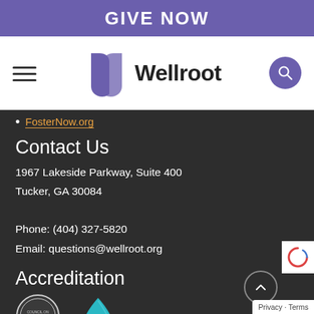GIVE NOW
[Figure (logo): Wellroot logo with purple W icon and wordmark]
FosterNow.org
Contact Us
1967 Lakeside Parkway, Suite 400
Tucker, GA 30084

Phone: (404) 327-5820
Email: questions@wellroot.org
Accreditation
[Figure (logo): Council on Accreditation circular seal badge]
[Figure (logo): Blue water droplet / accreditation logo]